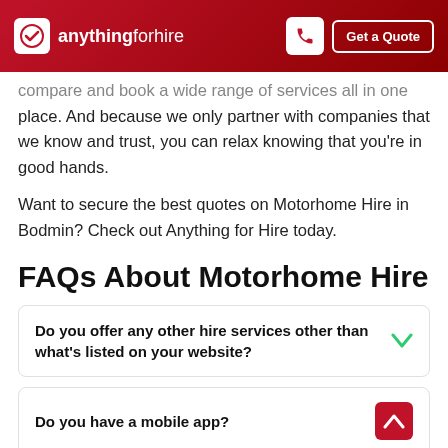anything for hire | Get a Quote
compare and book a wide range of services all in one place. And because we only partner with companies that we know and trust, you can relax knowing that you're in good hands.
Want to secure the best quotes on Motorhome Hire in Bodmin? Check out Anything for Hire today.
FAQs About Motorhome Hire
Do you offer any other hire services other than what's listed on your website?
Do you have a mobile app?